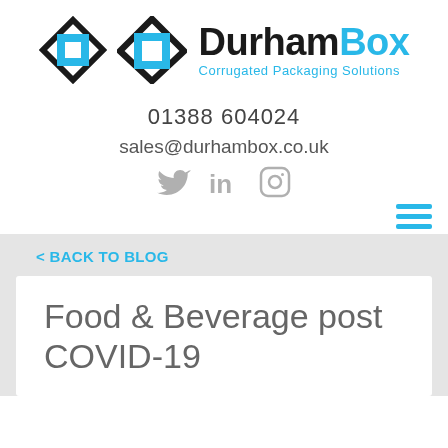[Figure (logo): DurhamBox logo with diamond/square icon and text 'DurhamBox Corrugated Packaging Solutions']
01388 604024
sales@durhambox.co.uk
[Figure (other): Social media icons: Twitter, LinkedIn, Instagram in gray]
[Figure (other): Hamburger menu icon (three horizontal blue lines)]
< BACK TO BLOG
Food & Beverage post COVID-19